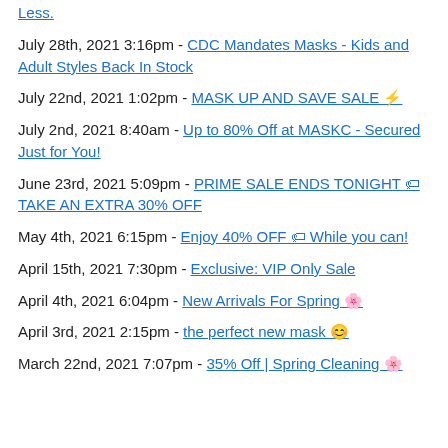Less.
July 28th, 2021 3:16pm - CDC Mandates Masks - Kids and Adult Styles Back In Stock
July 22nd, 2021 1:02pm - MASK UP AND SAVE SALE ⚡
July 2nd, 2021 8:40am - Up to 80% Off at MASKC - Secured Just for You!
June 23rd, 2021 5:09pm - PRIME SALE ENDS TONIGHT 🏷 TAKE AN EXTRA 30% OFF
May 4th, 2021 6:15pm - Enjoy 40% OFF 🏷 While you can!
April 15th, 2021 7:30pm - Exclusive: VIP Only Sale
April 4th, 2021 6:04pm - New Arrivals For Spring 🌸
April 3rd, 2021 2:15pm - the perfect new mask 😊
March 22nd, 2021 7:07pm - 35% Off | Spring Cleaning 🌸